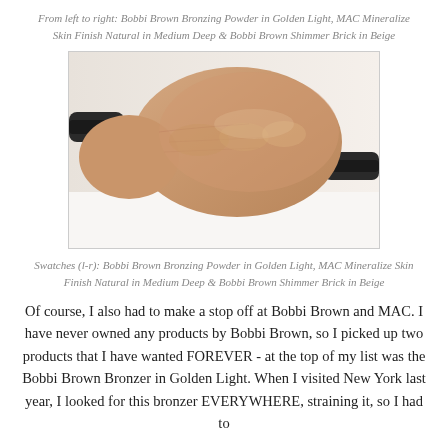From left to right: Bobbi Brown Bronzing Powder in Golden Light, MAC Mineralize Skin Finish Natural in Medium Deep & Bobbi Brown Shimmer Brick in Beige
[Figure (photo): A close-up photograph of a person's wrist/hand showing makeup swatches on skin, with dark makeup product containers visible at the edges on a white background.]
Swatches (l-r): Bobbi Brown Bronzing Powder in Golden Light, MAC Mineralize Skin Finish Natural in Medium Deep & Bobbi Brown Shimmer Brick in Beige
Of course, I also had to make a stop off at Bobbi Brown and MAC. I have never owned any products by Bobbi Brown, so I picked up two products that I have wanted FOREVER - at the top of my list was the Bobbi Brown Bronzer in Golden Light. When I visited New York last year, I looked for this bronzer EVERYWHERE, straining it, so I had to...